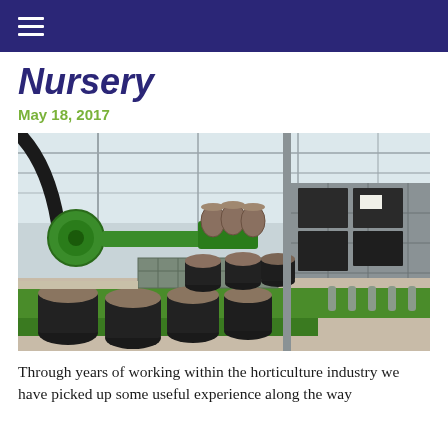≡
Nursery
May 18, 2017
[Figure (photo): Industrial robotic arm in a greenhouse nursery, placing soil plugs into black plastic pots on a green conveyor belt system. Rows of black cylindrical pots are visible along with wire mesh cages stacked with dark containers in the background.]
Through years of working within the horticulture industry we have picked up some useful experience along the way